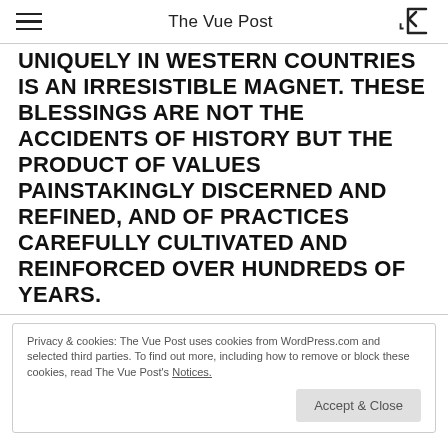The Vue Post
UNIQUELY IN WESTERN COUNTRIES IS AN IRRESISTIBLE MAGNET. THESE BLESSINGS ARE NOT THE ACCIDENTS OF HISTORY BUT THE PRODUCT OF VALUES PAINSTAKINGLY DISCERNED AND REFINED, AND OF PRACTICES CAREFULLY CULTIVATED AND REINFORCED OVER HUNDREDS OF YEARS.
Privacy & cookies: The Vue Post uses cookies from WordPress.com and selected third parties. To find out more, including how to remove or block these cookies, read The Vue Post's Notices.
IS AT THE HEART OF EVERY WESTERN